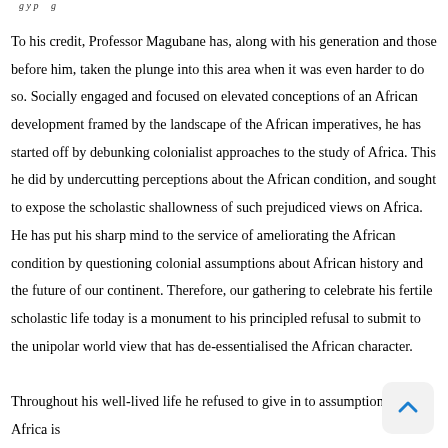g y p g
To his credit, Professor Magubane has, along with his generation and those before him, taken the plunge into this area when it was even harder to do so. Socially engaged and focused on elevated conceptions of an African development framed by the landscape of the African imperatives, he has started off by debunking colonialist approaches to the study of Africa. This he did by undercutting perceptions about the African condition, and sought to expose the scholastic shallowness of such prejudiced views on Africa. He has put his sharp mind to the service of ameliorating the African condition by questioning colonial assumptions about African history and the future of our continent. Therefore, our gathering to celebrate his fertile scholastic life today is a monument to his principled refusal to submit to the unipolar world view that has de-essentialised the African character.
Throughout his well-lived life he refused to give in to assumptions that Africa is